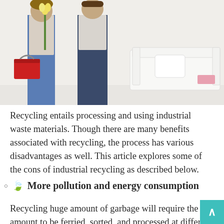[Figure (photo): Two people standing in a bright room; one holding a red toolbox and yellow flowers, the other standing near a white sofa with a pillow]
Recycling entails processing and using industrial waste materials. Though there are many benefits associated with recycling, the process has various disadvantages as well. This article explores some of the cons of industrial recycling as described below.
More pollution and energy consumption
Recycling huge amount of garbage will require the amount to be ferried, sorted, and processed at different plants. These plants also require energy to be operated. The recycled material may also produce other by-